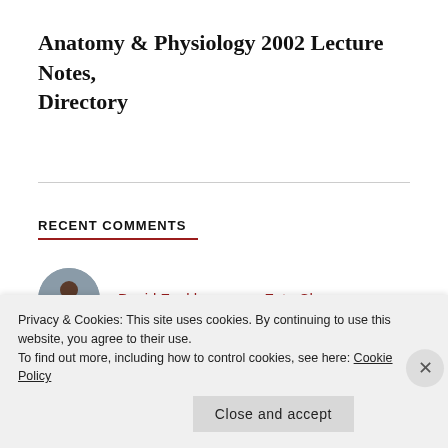Anatomy & Physiology 2002 Lecture Notes, Directory
RECENT COMMENTS
David Fankhauser on Feta Cheese
Milk Handling… on Handling Fresh Raw Milk
Privacy & Cookies: This site uses cookies. By continuing to use this website, you agree to their use. To find out more, including how to control cookies, see here: Cookie Policy
Close and accept